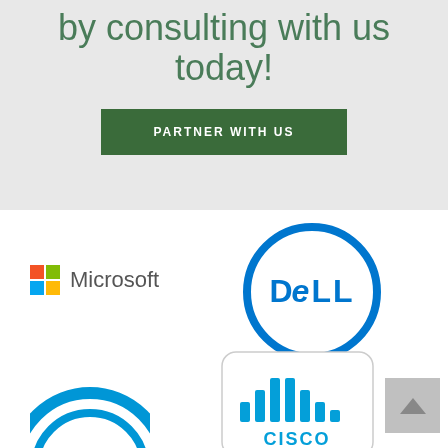by consulting with us today!
PARTNER WITH US
[Figure (logo): Microsoft logo with four-color Windows square grid icon and 'Microsoft' wordmark in grey]
[Figure (logo): Dell logo: blue circle outline with 'DELL' text in blue inside]
[Figure (logo): HP logo: blue arc/circle shape partially visible at bottom left]
[Figure (logo): Cisco logo: rounded square with vertical bar chart icon and 'CISCO' text in blue]